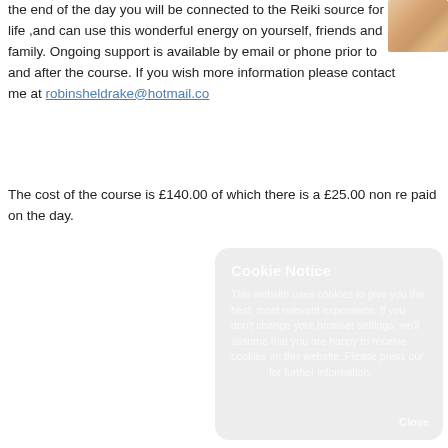the end of the day you will be connected to the Reiki source for life ,and can use this wonderful energy on yourself, friends and family. Ongoing support is available by email or phone prior to and after the course. If you wish more information please contact me at robinsheldrake@hotmail.co
[Figure (photo): Small photo of hands or Reiki-related image in top right corner]
The cost of the course is £140.00 of which there is a £25.00 non re paid on the day.
Cookie Notice
This website uses cookies to give you the best, most relevant experience. If you don't change your browser settings, we'll assume that you are happy to receive cookies on this website. Please press our for further information.
Close